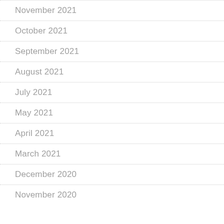November 2021
October 2021
September 2021
August 2021
July 2021
May 2021
April 2021
March 2021
December 2020
November 2020